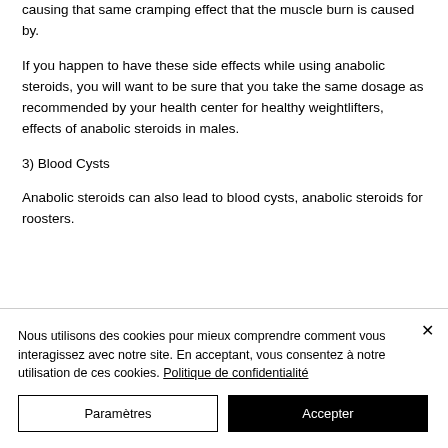causing that same cramping effect that the muscle burn is caused by.
If you happen to have these side effects while using anabolic steroids, you will want to be sure that you take the same dosage as recommended by your health center for healthy weightlifters, effects of anabolic steroids in males.
3) Blood Cysts
Anabolic steroids can also lead to blood cysts, anabolic steroids for roosters.
Nous utilisons des cookies pour mieux comprendre comment vous interagissez avec notre site. En acceptant, vous consentez à notre utilisation de ces cookies. Politique de confidentialité